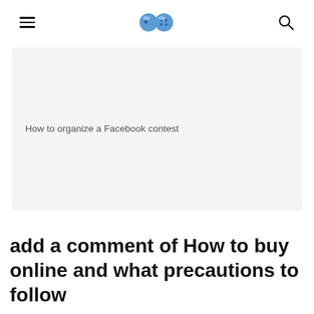[hamburger menu] [game controller logo] [search icon]
[Figure (screenshot): Light gray card/image placeholder with caption text 'How to organize a Facebook contest' in the lower-left area]
How to organize a Facebook contest
add a comment of How to buy online and what precautions to follow